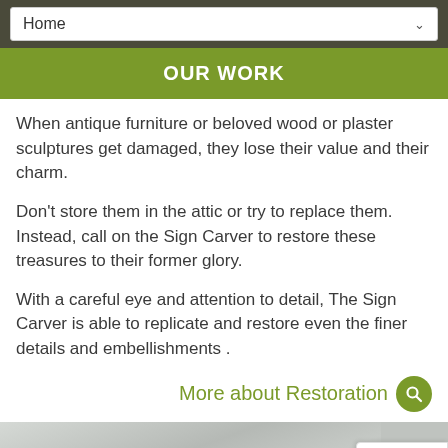Home
OUR WORK
When antique furniture or beloved wood or plaster sculptures get damaged, they lose their value and their charm.
Don't store them in the attic or try to replace them. Instead, call on the Sign Carver to restore these treasures to their former glory.
With a careful eye and attention to detail, The Sign Carver is able to replicate and restore even the finer details and embellishments .
More about Restoration
[Figure (photo): Partial photo of a marble or stone surface at the bottom of the page]